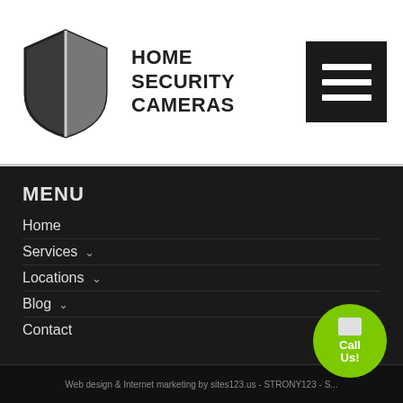[Figure (logo): Shield-shaped logo icon in dark gray and white, split vertically]
HOME SECURITY CAMERAS
[Figure (other): Hamburger menu button (three horizontal white lines on black background)]
MENU
Home
Services ∨
Locations ∨
Blog ∨
Contact
[Figure (other): Green circular call-us button with phone icon and 'Call Us' text]
Web design & Internet marketing by sites123.us - STRONY123 - S...